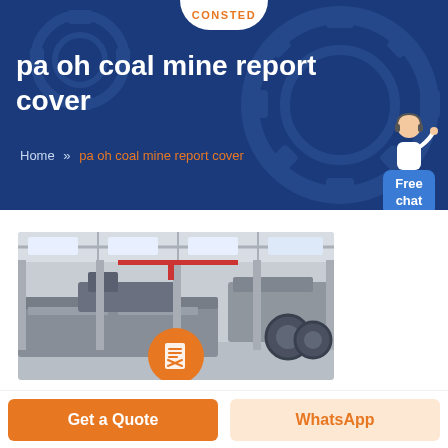CONSTED
pa oh coal mine report cover
Home >> pa oh coal mine report cover
[Figure (photo): Factory/industrial facility interior showing large machinery and equipment on a production floor]
Get a Quote
WhatsApp